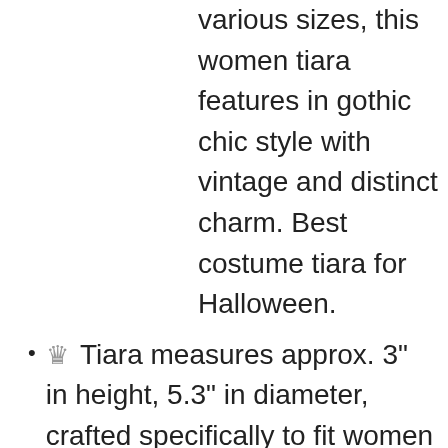various sizes, this women tiara features in gothic chic style with vintage and distinct charm. Best costume tiara for Halloween.
♛ Tiara measures approx. 3" in height, 5.3" in diameter, crafted specifically to fit women and girls and perfectly fit in your glamorous hairstyles.
♛ The metal tiara is of high quality, bend at the end for a perfect fit. Pin loops at each end of the tiara for extra security.
♛ Sparkling headpiece, ideal for